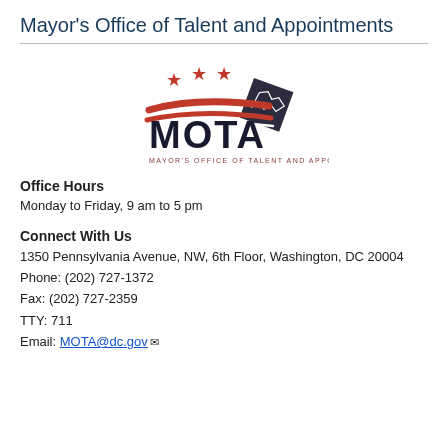Mayor's Office of Talent and Appointments
[Figure (logo): MOTA logo with three red stars, red and white swoosh stripes, a dark diamond shape with DC outline, bold text 'MOTA' and tagline 'MAYOR'S OFFICE OF TALENT AND APPOINTMENTS']
Office Hours
Monday to Friday, 9 am to 5 pm
Connect With Us
1350 Pennsylvania Avenue, NW, 6th Floor, Washington, DC 20004
Phone: (202) 727-1372
Fax: (202) 727-2359
TTY: 711
Email: MOTA@dc.gov